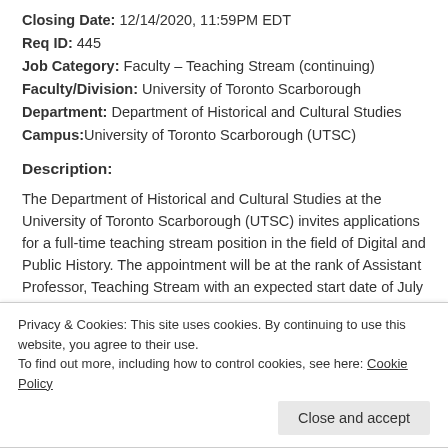Closing Date: 12/14/2020, 11:59PM EDT
Req ID: 445
Job Category: Faculty – Teaching Stream (continuing)
Faculty/Division: University of Toronto Scarborough
Department: Department of Historical and Cultural Studies
Campus: University of Toronto Scarborough (UTSC)
Description:
The Department of Historical and Cultural Studies at the University of Toronto Scarborough (UTSC) invites applications for a full-time teaching stream position in the field of Digital and Public History. The appointment will be at the rank of Assistant Professor, Teaching Stream with an expected start date of July 1, 2021, or shortly thereafter.
Privacy & Cookies: This site uses cookies. By continuing to use this website, you agree to their use.
To find out more, including how to control cookies, see here: Cookie Policy
and locally, and a range of digital analysis and presentation